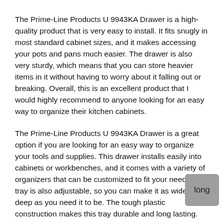The Prime-Line Products U 9943KA Drawer is a high-quality product that is very easy to install. It fits snugly in most standard cabinet sizes, and it makes accessing your pots and pans much easier. The drawer is also very sturdy, which means that you can store heavier items in it without having to worry about it falling out or breaking. Overall, this is an excellent product that I would highly recommend to anyone looking for an easy way to organize their kitchen cabinets.
The Prime-Line Products U 9943KA Drawer is a great option if you are looking for an easy way to organize your tools and supplies. This drawer installs easily into cabinets or workbenches, and it comes with a variety of organizers that can be customized to fit your needs. The tray is also adjustable, so you can make it as wide or deep as you need it to be. The tough plastic construction makes this tray durable and long lasting.